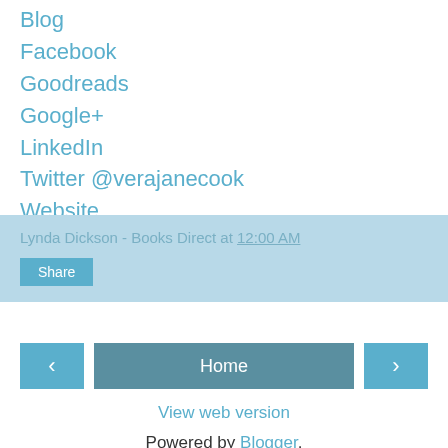Blog
Facebook
Goodreads
Google+
LinkedIn
Twitter @verajanecook
Website
Lynda Dickson - Books Direct at 12:00 AM
Share
Home
View web version
Powered by Blogger.